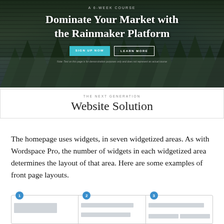[Figure (screenshot): Hero banner of a website for 'Dominate Your Market with the Rainmaker Platform' course, dark forest background, with SIGN UP NOW and LEARN MORE buttons, small disclaimer note at bottom.]
Website Solution
The homepage uses widgets, in seven widgetized areas. As with Wordspace Pro, the number of widgets in each widgetized area determines the layout of that area. Here are some examples of front page layouts.
[Figure (illustration): Three-column layout diagram with numbered circles (1, 2, 3) showing different widget arrangements: single tall block in column 1, two stacked bars in column 2, top bar and two side-by-side bars in column 3.]